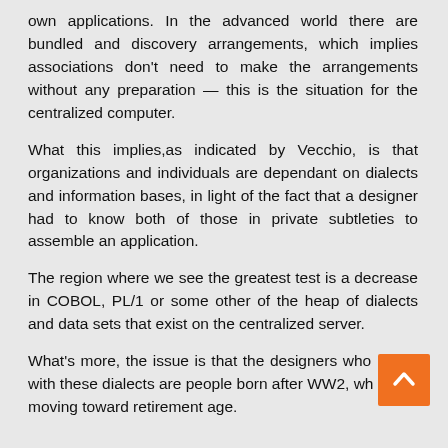own applications. In the advanced world there are bundled and discovery arrangements, which implies associations don't need to make the arrangements without any preparation — this is the situation for the centralized computer.
What this implies,as indicated by Vecchio, is that organizations and individuals are dependant on dialects and information bases, in light of the fact that a designer had to know both of those in private subtleties to assemble an application.
The region where we see the greatest test is a decrease in COBOL, PL/1 or some other of the heap of dialects and data sets that exist on the centralized server.
What's more, the issue is that the designers who work with these dialects are people born after WW2, who are moving toward retirement age.